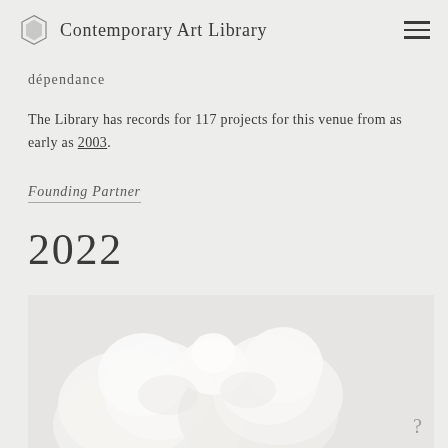Contemporary Art Library
dépendance
The Library has records for 117 projects for this venue from as early as 2003.
Founding Partner
2022
[Figure (photo): White sculptural forms resembling wrapped or draped figures, photographed against a light grey background. A question mark appears in the lower right corner.]